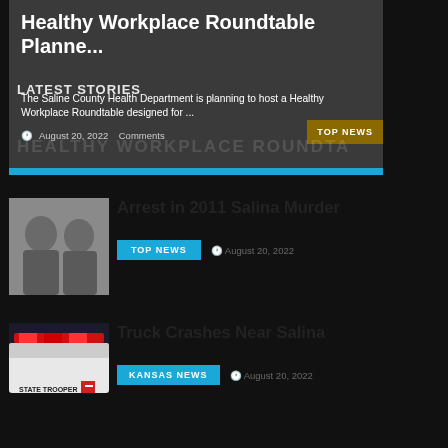Healthy Workplace Roundtable Planne...
LATEST STORIES
The Saline County Health Department is planning to host a Healthy Workplace Roundtable designed for ...
August 20, 2022  Comments
[Figure (photo): Top news badge overlay and watermark text reading HEALTHY WORKPLACE ROUNDTA]
Arrest in 2011 Salina Murder
[Figure (photo): Mugshot photos of two men, front and side profile views]
TOP NEWS  August 20, 2022
Truck Crashes Near Salina
[Figure (photo): Photo of a State Trooper vehicle with emergency lights, STATE TROOPER text visible]
KANSAS NEWS  August 20, 2022